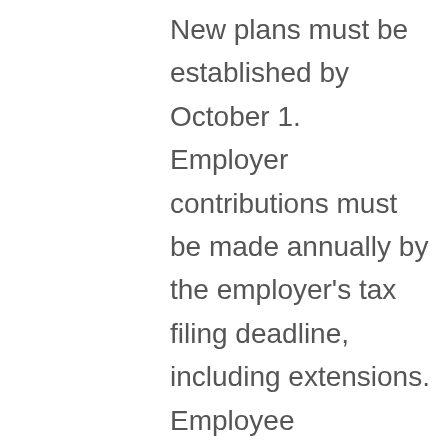New plans must be established by October 1.  Employer contributions must be made annually by the employer's tax filing deadline, including extensions. Employee contributions are deducted from employee wages, and must be deposited at least monthly.  SIMPLE IRA's are best for larger businesses with up to 100 employees.  They have low administrative burden on the employer, but can be expensive due to the required matching or 2% non-elective contributions that are required to by made each year. The SIMPLE